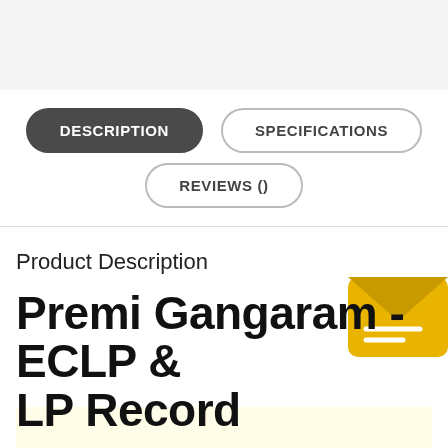[Figure (screenshot): Top gray header area of a webpage]
DESCRIPTION
SPECIFICATIONS
REVIEWS ()
Product Description
Premi Gangaram - ECLP & LP Record
Gangaram (I.S. Johar) lives in a small village in Punjab. The only quality h... singing voice. He is in love with Jamuna and the whole village knows abo... Jamuna's father is not happy with Gangaram, so he uses various method... However all his efforts fail and he takes Jamuna away to the city. Ganga...
[Figure (illustration): Yellow email/envelope icon with horizontal lines, positioned at right side]